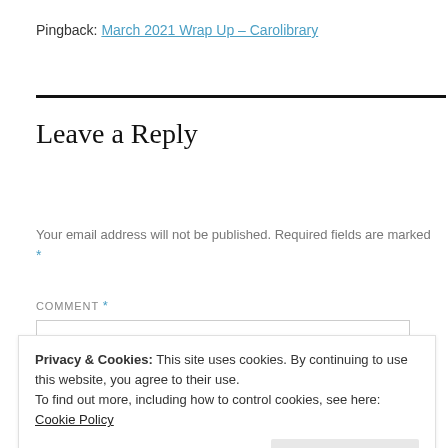Pingback: March 2021 Wrap Up – Carolibrary
Leave a Reply
Your email address will not be published. Required fields are marked *
COMMENT *
Privacy & Cookies: This site uses cookies. By continuing to use this website, you agree to their use.
To find out more, including how to control cookies, see here: Cookie Policy
Close and accept